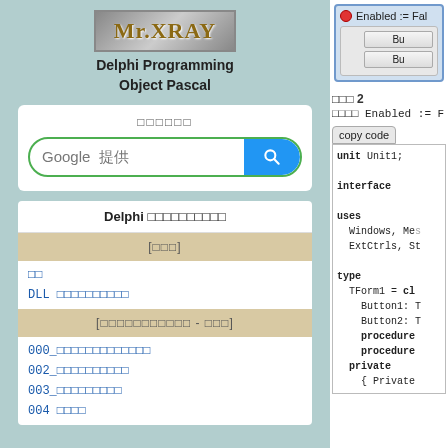[Figure (logo): Mr.XRAY logo with metallic background]
Delphi Programming Object Pascal
Google 提供 search bar
Delphi プログラミング入門
[目次へ]
目次
DLL プログラミング入門
[プログラミング練習問題 - 目次]
000_プログラミング練習問題一覧
002_プログラミング練習問題
003_プログラミング練習問題
004 目次
Enabled := Fa...
第 2
コンポーネント Enabled := F
copy code
unit Unit1;

interface

uses
  Windows, Me
  ExtCtrls, St

type
  TForm1 = cl
    Button1: T
    Button2: T
    procedure
    procedure
private
  { Private